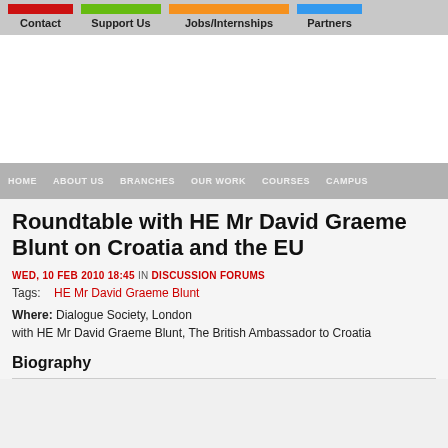Contact | Support Us | Jobs/Internships | Partners
[Figure (screenshot): Advertisement area (white blank space)]
HOME | ABOUT US | BRANCHES | OUR WORK | COURSES | CAMPUS
Roundtable with HE Mr David Graeme Blunt on Croatia and the EU
WED, 10 FEB 2010 18:45 IN DISCUSSION FORUMS
Tags: HE Mr David Graeme Blunt
Where: Dialogue Society, London
with HE Mr David Graeme Blunt, The British Ambassador to Croatia
Biography